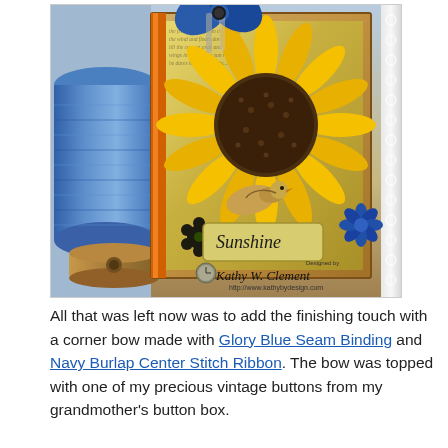[Figure (photo): A crafted greeting card featuring a large sunflower with a small bird, surrounded by blue yarn spool and a wooden thread spool. The card has a blue bow decoration at the top, 'Sunshine' written in script, and is decorated with ribbons and flowers. Signed by Kathy W. Clement with website http://www.kathybydesign.com]
All that was left now was to add the finishing touch with a corner bow made with Glory Blue Seam Binding and Navy Burlap Center Stitch Ribbon. The bow was topped with one of my precious vintage buttons from my grandmother's button box.